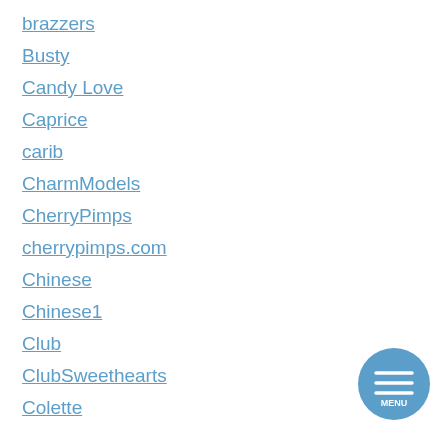brazzers
Busty
Candy Love
Caprice
carib
CharmModels
CherryPimps
cherrypimps.com
Chinese
Chinese1
Club
ClubSweethearts
Colette